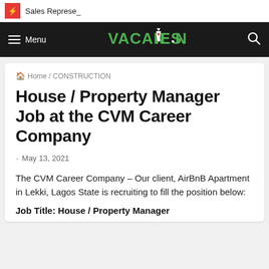Sales Represe_
Menu  VACANCIES.NG
Home / CONSTRUCTION
House / Property Manager Job at the CVM Career Company
May 13, 2021
The CVM Career Company – Our client, AirBnB Apartment in Lekki, Lagos State is recruiting to fill the position below:
Job Title: House / Property Manager